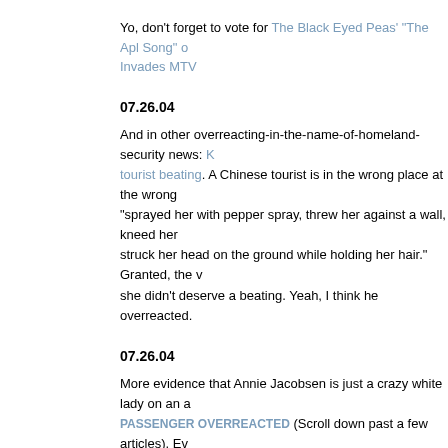Yo, don't forget to vote for The Black Eyed Peas' "The Apl Song" o Invades MTV
07.26.04
And in other overreacting-in-the-name-of-homeland-security news: tourist beating. A Chinese tourist is in the wrong place at the wrong "sprayed her with pepper spray, threw her against a wall, kneed her struck her head on the ground while holding her hair." Granted, the v she didn't deserve a beating. Yeah, I think he overreacted.
07.26.04
More evidence that Annie Jacobsen is just a crazy white lady on an PASSENGER OVERREACTED (Scroll down past a few articles). Ev authority on urban legends/rumors, has taken on Jacobsen's claims: Sometimes fourteen Syrian musicians on a plane are just fourteen S
Seriously, next time these guys roll into town, I'm going to the show.
07.23.04